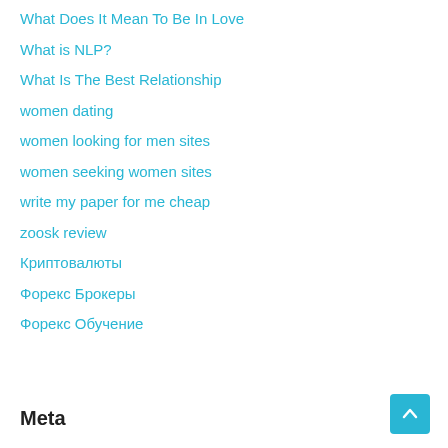What Does It Mean To Be In Love
What is NLP?
What Is The Best Relationship
women dating
women looking for men sites
women seeking women sites
write my paper for me cheap
zoosk review
Криптовалюты
Форекс Брокеры
Форекс Обучение
Meta